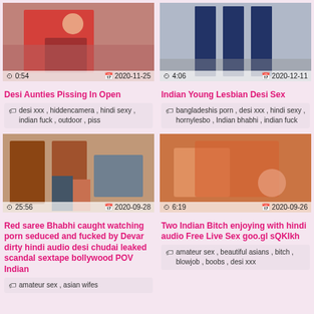[Figure (photo): Video thumbnail showing woman in red clothing, duration 0:54, date 2020-11-25]
Desi Aunties Pissing In Open
desi xxx , hiddencamera , hindi sexy , indian fuck , outdoor , piss
[Figure (photo): Video thumbnail showing people in school uniforms, duration 4:06, date 2020-12-11]
Indian Young Lesbian Desi Sex
bangladeshis porn , desi xxx , hindi sexy , hornylesbo , Indian bhabhi , indian fuck
[Figure (photo): Video thumbnail showing couple in kitchen, duration 25:56, date 2020-09-28]
Red saree Bhabhi caught watching porn seduced and fucked by Devar dirty hindi audio desi chudai leaked scandal sextape bollywood POV Indian
amateur sex , asian wifes
[Figure (photo): Video thumbnail showing woman in red saree, duration 6:19, date 2020-09-26]
Two Indian Bitch enjoying with hindi audio Free Live Sex goo.gl sQKIkh
amateur sex , beautiful asians , bitch , blowjob , boobs , desi xxx